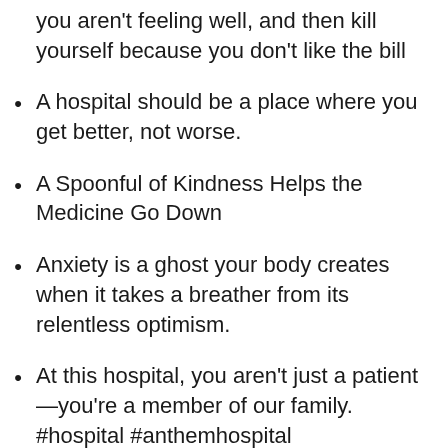you aren't feeling well, and then kill yourself because you don't like the bill
A hospital should be a place where you get better, not worse.
A Spoonful of Kindness Helps the Medicine Go Down
Anxiety is a ghost your body creates when it takes a breather from its relentless optimism.
At this hospital, you aren't just a patient—you're a member of our family. #hospital #anthemhospital
At  it's all about the finish line. The